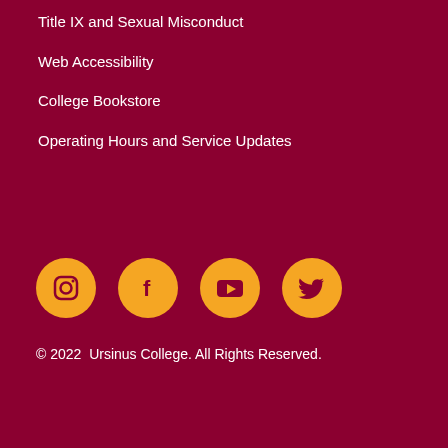Title IX and Sexual Misconduct
Web Accessibility
College Bookstore
Operating Hours and Service Updates
[Figure (infographic): Row of four social media icon circles in gold/amber color: Instagram, Facebook, YouTube, Twitter]
© 2022  Ursinus College. All Rights Reserved.